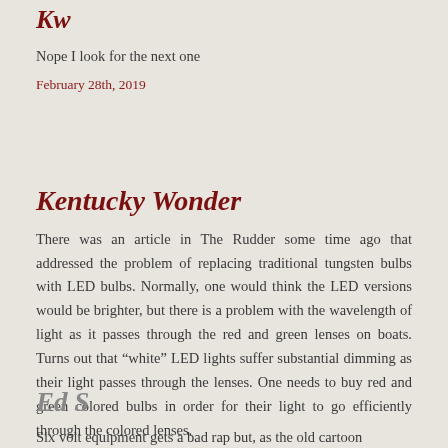Kw
Nope I look for the next one
February 28th, 2019
Kentucky Wonder
There was an article in The Rudder some time ago that addressed the problem of replacing traditional tungsten bulbs with LED bulbs. Normally, one would think the LED versions would be brighter, but there is a problem with the wavelength of light as it passes through the red and green lenses on boats. Turns out that “white” LED lights suffer substantial dimming as their light passes through the lenses. One needs to buy red and green colored bulbs in order for their light to go efficiently through the colored lenses.
February 28th, 2019
Ed S
Six volt equipment gets a bad rap but, as the old cartoon